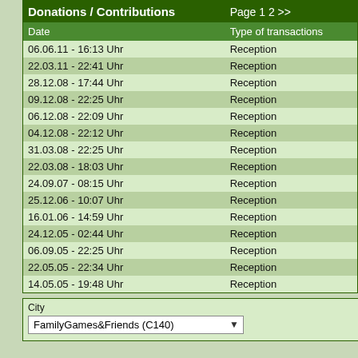| Donations / Contributions  Page 1 2 >> |  |
| --- | --- |
| Date | Type of transactions |
| 06.06.11 - 16:13 Uhr | Reception |
| 22.03.11 - 22:41 Uhr | Reception |
| 28.12.08 - 17:44 Uhr | Reception |
| 09.12.08 - 22:25 Uhr | Reception |
| 06.12.08 - 22:09 Uhr | Reception |
| 04.12.08 - 22:12 Uhr | Reception |
| 31.03.08 - 22:25 Uhr | Reception |
| 22.03.08 - 18:03 Uhr | Reception |
| 24.09.07 - 08:15 Uhr | Reception |
| 25.12.06 - 10:07 Uhr | Reception |
| 16.01.06 - 14:59 Uhr | Reception |
| 24.12.05 - 02:44 Uhr | Reception |
| 06.09.05 - 22:25 Uhr | Reception |
| 22.05.05 - 22:34 Uhr | Reception |
| 14.05.05 - 19:48 Uhr | Reception |
City
FamilyGames&Friends (C140)